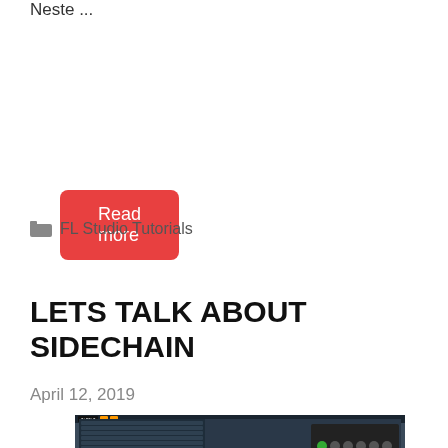Neste ...
Read more
FL Studio Tutorials
LETS TALK ABOUT SIDECHAIN
April 12, 2019
[Figure (screenshot): Screenshot of FL Studio DAW interface showing mixer and plugin windows]